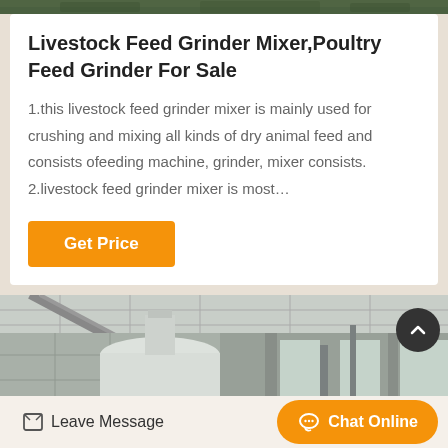[Figure (photo): Top green/foliage banner strip at top of page]
Livestock Feed Grinder Mixer,Poultry Feed Grinder For Sale
1.this livestock feed grinder mixer is mainly used for crushing and mixing all kinds of dry animal feed and consists ofeeding machine, grinder, mixer consists. 2.livestock feed grinder mixer is most…
[Figure (other): Orange 'Get Price' button]
[Figure (photo): Interior of an industrial facility showing large white cylindrical equipment, metal structure, columns and natural light through windows]
Leave Message   Chat Online